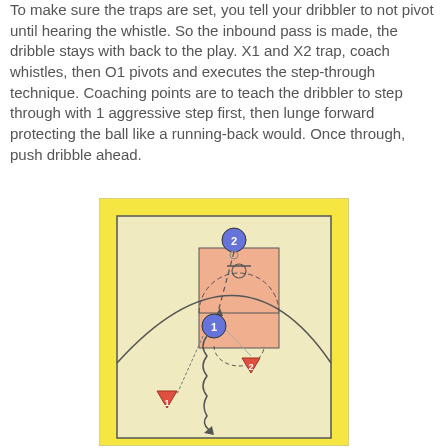To make sure the traps are set, you tell your dribbler to not pivot until hearing the whistle. So the inbound pass is made, the dribble stays with back to the play. X1 and X2 trap, coach whistles, then O1 pivots and executes the step-through technique. Coaching points are to teach the dribbler to step through with 1 aggressive step first, then lunge forward protecting the ball like a running-back would. Once through, push dribble ahead.
[Figure (other): Basketball half-court diagram showing a play with player 2 (blue circle) at top passing down with dashed line to player 1 (blue circle) near left side of paint. Player 1 dribbles with a zig-zag line toward bottom-left. Red triangle markers labeled 1 and 2 show defensive positions. Straight line from O1 to the triangle near the paint indicates a pass or movement line.]